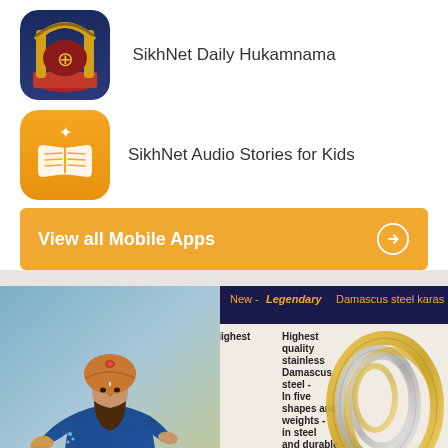[Figure (logo): SikhNet Daily Hukamnama app icon - dark blue background with golden temple arch and Khanda symbol on red background]
SikhNet Daily Hukamnama
[Figure (logo): SikhNet Audio Stories for Kids app icon - orange background with open book icon and star]
SikhNet Audio Stories for Kids
View all Mobile Apps →
[Figure (illustration): Painting of a Sikh Guru in blue clothing and orange turban with a jeweled ornament, with hands reaching up from below]
[Figure (infographic): Advertisement for Damascus steel karas with text: New - Legendary Damascus steel karas. Highest quality stainless Damascus steel - In five shapes and weights - in steel and durable gold-tone over steel. Shows gold and silver rings.]